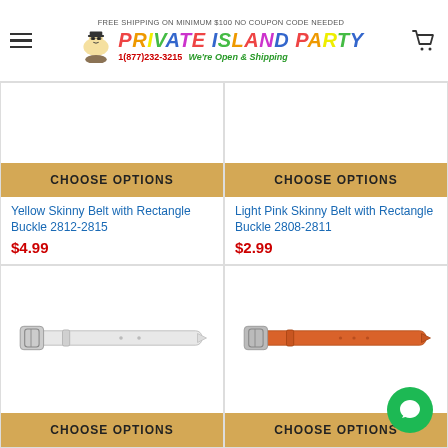FREE SHIPPING ON MINIMUM $100 NO COUPON CODE NEEDED | PRIVATE ISLAND PARTY | 1(877)232-3215 | We're Open & Shipping
CHOOSE OPTIONS
Yellow Skinny Belt with Rectangle Buckle 2812-2815
$4.99
CHOOSE OPTIONS
Light Pink Skinny Belt with Rectangle Buckle 2808-2811
$2.99
[Figure (photo): White skinny belt with rectangle buckle on white background]
CHOOSE OPTIONS
[Figure (photo): Orange skinny belt with rectangle buckle on white background]
CHOOSE OPTIONS